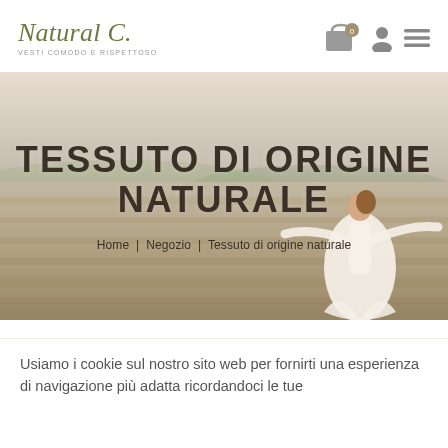[Figure (logo): Natural C. logo with tagline 'VESTI COMODO E RISPETTOSO' in olive/green italic script]
[Figure (illustration): Woman in white dress standing in a field, hero banner with text overlay 'TESSUTO DI ORIGINE NATURALE' and breadcrumb navigation]
Usiamo i cookie sul nostro sito web per fornirti una esperienza di navigazione più adatta ricordandoci le tue